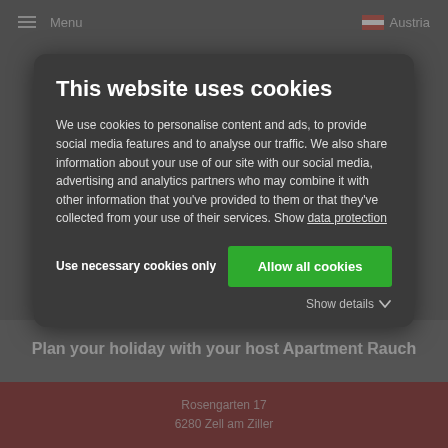Menu  Austria
This website uses cookies
We use cookies to personalise content and ads, to provide social media features and to analyse our traffic. We also share information about your use of our site with our social media, advertising and analytics partners who may combine it with other information that you've provided to them or that they've collected from your use of their services. Show data protection
Use necessary cookies only
Allow all cookies
Show details
Plan your holiday with your host Apartment Rauch
Rosengarten 17
6280 Zell am Ziller